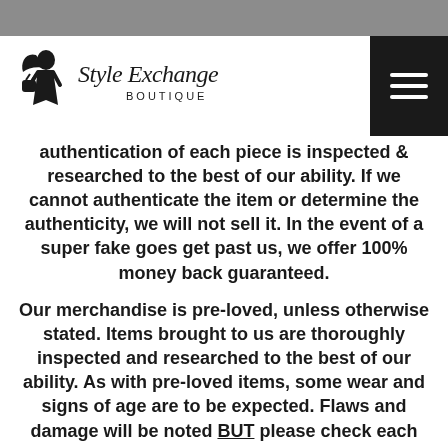Style Exchange Boutique
[Figure (logo): Style Exchange Boutique logo with illustrated woman silhouette and script/print text]
authentication of each piece is inspected & researched to the best of our ability. If we cannot authenticate the item or determine the authenticity, we will not sell it. In the event of a super fake goes get past us, we offer 100% money back guaranteed.
Our merchandise is pre-loved, unless otherwise stated. Items brought to us are thoroughly inspected and researched to the best of our ability. As with pre-loved items, some wear and signs of age are to be expected. Flaws and damage will be noted BUT please check each photo carefully. Please feel free to call the showroom to ask any questions or request additional information @ 412-881-1171 ext 2